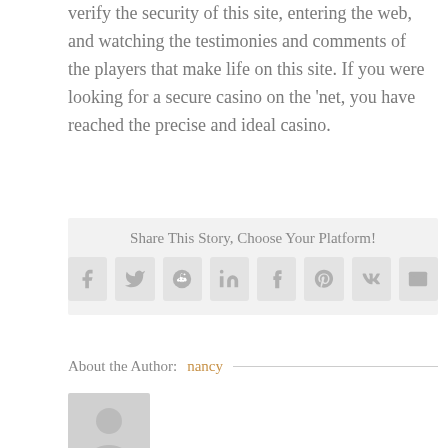verify the security of this site, entering the web, and watching the testimonies and comments of the players that make life on this site. If you were looking for a secure casino on the ‘net, you have reached the precise and ideal casino.
Share This Story, Choose Your Platform!
[Figure (infographic): Row of 8 social media share icon buttons: Facebook, Twitter, Reddit, LinkedIn, Tumblr, Pinterest, VK, Email]
About the Author: nancy
[Figure (photo): Generic grey placeholder avatar silhouette image]